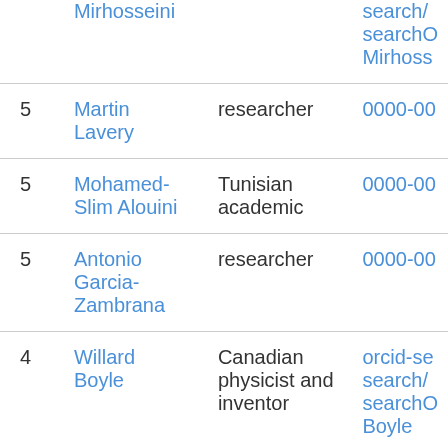| # | Name | Description | Link |
| --- | --- | --- | --- |
|  | Mirhosseini |  | search/
searchO
Mirhoss |
| 5 | Martin Lavery | researcher | 0000-00 |
| 5 | Mohamed-Slim Alouini | Tunisian academic | 0000-00 |
| 5 | Antonio Garcia-Zambrana | researcher | 0000-00 |
| 4 | Willard Boyle | Canadian physicist and inventor | orcid-se
search/
searchO
Boyle |